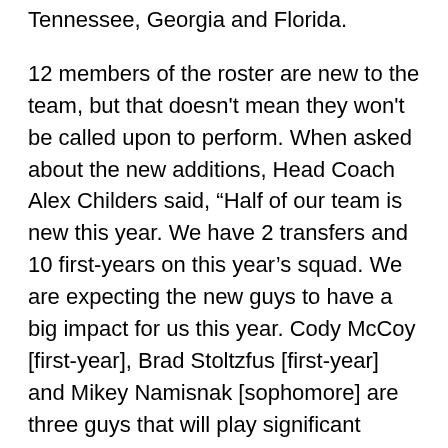Tennessee, Georgia and Florida.
12 members of the roster are new to the team, but that doesn't mean they won't be called upon to perform. When asked about the new additions, Head Coach Alex Childers said, “Half of our team is new this year. We have 2 transfers and 10 first-years on this year’s squad. We are expecting the new guys to have a big impact for us this year. Cody McCoy [first-year], Brad Stoltzfus [first-year] and Mikey Namisnak [sophomore] are three guys that will play significant innings for us in the Infield. Ryan Hartig [first-year] and Kyle Houts [first-year] will each see some time in the outfield and both have very good speed. Spencer